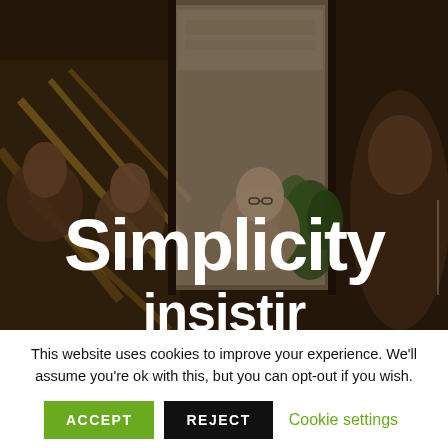[Figure (photo): Group of diverse people in a meeting or office environment, with glass walls, warm lighting, and plants in the background. Dark overlay on image.]
Simplicity
This website uses cookies to improve your experience. We'll assume you're ok with this, but you can opt-out if you wish.
ACCEPT  REJECT  Cookie settings